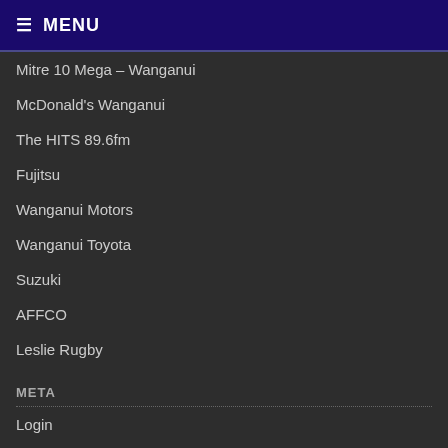≡ MENU
Mitre 10 Mega – Wanganui
McDonald's Wanganui
The HITS 89.6fm
Fujitsu
Wanganui Motors
Wanganui Toyota
Suzuki
AFFCO
Leslie Rugby
META
Login
Entries feed
Comments feed